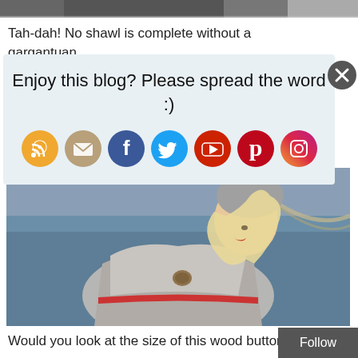[Figure (photo): Partial top strip of a photo showing people]
Tah-dah! No shawl is complete without a gargantuan
[Figure (infographic): Social share modal with title 'Enjoy this blog? Please spread the word :)' and icons for RSS, Email, Facebook, Twitter, YouTube, Pinterest, Instagram]
[Figure (photo): Woman with blonde hair wearing a knitted grey shawl with red stripe and a large wooden button, standing near water]
Would you look at the size of this wood button,